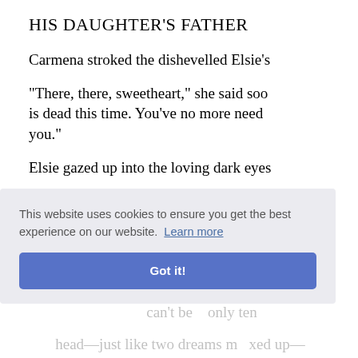HIS DAUGHTER'S FATHER
Carmena stroked the dishevelled Elsie's
"There, there, sweetheart," she said soo… is dead this time. You've no more need… you."
Elsie gazed up into the loving dark eyes
"Why, of course, Mena, when you've alw
The blue eyes suddenly widened.
"But—but not always—papa and mam… can't be… only ten… head—just like two dreams mixed up—
"Yes, both real—all real, Blos om."
[Figure (screenshot): Cookie consent banner overlay with text 'This website uses cookies to ensure you get the best experience on our website. Learn more' and a blue 'Got it!' button.]